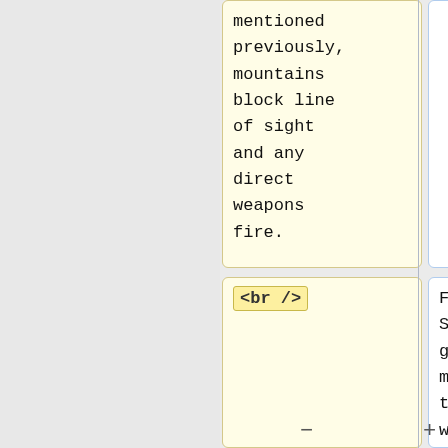mentioned previously, mountains block line of sight and any direct weapons fire.
<br />
For Skirmish games, you may choose to play with either Hidden or Revealed maps in the fog of war. When Hidden